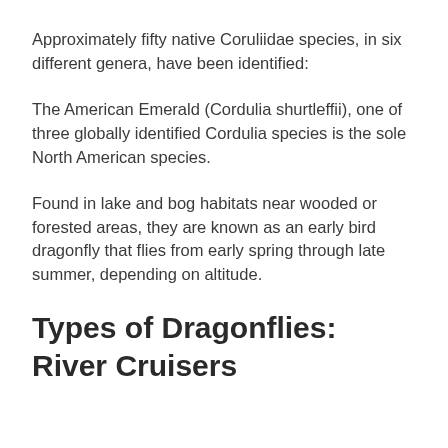Approximately fifty native Coruliidae species, in six different genera, have been identified:
The American Emerald (Cordulia shurtleffii), one of three globally identified Cordulia species is the sole North American species.
Found in lake and bog habitats near wooded or forested areas, they are known as an early bird dragonfly that flies from early spring through late summer, depending on altitude.
Types of Dragonflies: River Cruisers